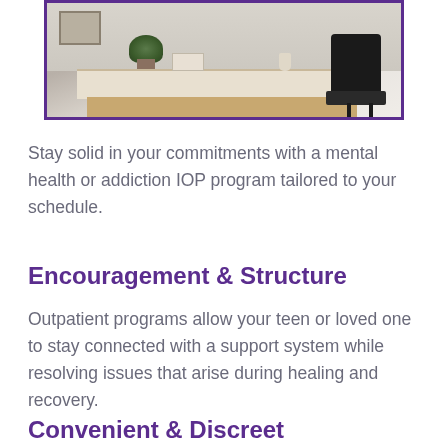[Figure (photo): Photo of a clean office space with a white desk, an office chair, a small plant, and a picture frame on the wall, with a purple border frame around the image.]
Stay solid in your commitments with a mental health or addiction IOP program tailored to your schedule.
Encouragement & Structure
Outpatient programs allow your teen or loved one to stay connected with a support system while resolving issues that arise during healing and recovery.
Convenient & Discreet